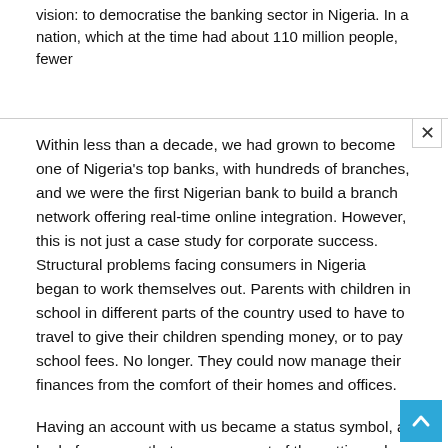vision: to democratise the banking sector in Nigeria. In a nation, which at the time had about 110 million people, fewer
Within less than a decade, we had grown to become one of Nigeria's top banks, with hundreds of branches, and we were the first Nigerian bank to build a branch network offering real-time online integration. However, this is not just a case study for corporate success. Structural problems facing consumers in Nigeria began to work themselves out. Parents with children in school in different parts of the country used to have to travel to give their children spending money, or to pay school fees. No longer. They could now manage their finances from the comfort of their homes and offices.
Having an account with us became a status symbol, a bad of progress that you were part of the cutting-edge, new